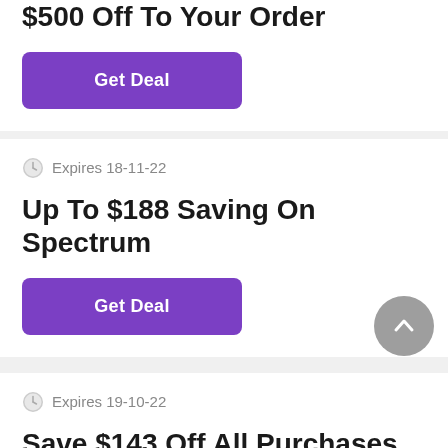$500 Off To Your Order
Get Deal
Expires 18-11-22
Up To $188 Saving On Spectrum
Get Deal
Expires 19-10-22
Save $143 Off All Purchases